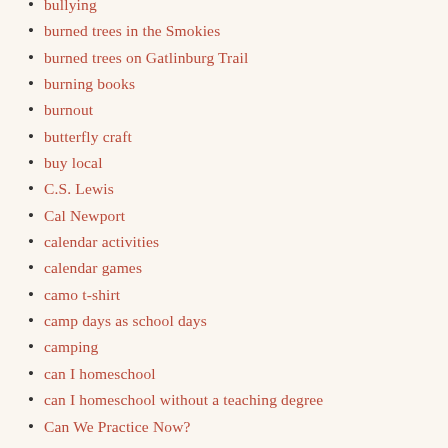bullying
burned trees in the Smokies
burned trees on Gatlinburg Trail
burning books
burnout
butterfly craft
buy local
C.S. Lewis
Cal Newport
calendar activities
calendar games
camo t-shirt
camp days as school days
camping
can I homeschool
can I homeschool without a teaching degree
Can We Practice Now?
Canada